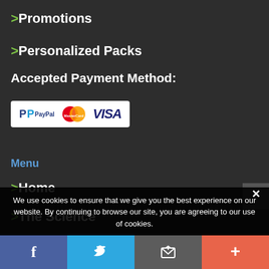>Promotions
>Personalized Packs
Accepted Payment Method:
[Figure (other): Payment method logos: PayPal, MasterCard, VISA on white background]
Menu
>Home
>The Science
>The Programs
We use cookies to ensure that we give you the best experience on our website. By continuing to browse our site, you are agreeing to our use of cookies.